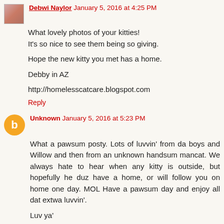Debwi Naylor January 5, 2016 at 4:25 PM
What lovely photos of your kitties!
It's so nice to see them being so giving.

Hope the new kitty you met has a home.

Debby in AZ

http://homelesscatcare.blogspot.com
Reply
Unknown January 5, 2016 at 5:23 PM
What a pawsum posty. Lots of luvvin' from da boys and Willow and then from an unknown handsum mancat. We always hate to hear when any kitty is outside, but hopefully he duz have a home, or will follow you on home one day. MOL Have a pawsum day and enjoy all dat extwa luvvin'.

Luv ya'

Dezi and Lexi